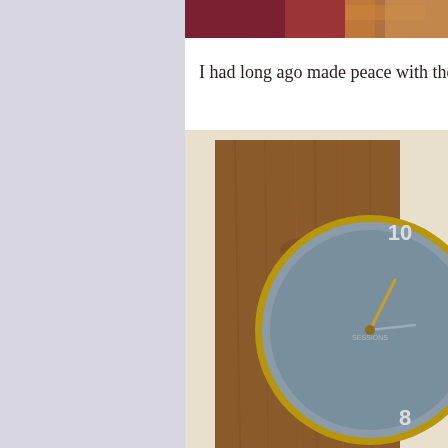[Figure (photo): Partial view of an animal (appears to be a cat or dog) on a red/maroon carpet or surface, cropped at top of page]
I had long ago made peace with the
[Figure (photo): Close-up photograph of a vintage wall clock with a wooden panel backing and round clock face with blue/grey dial showing numbers 8 and 10 visible, gold brass ring border]